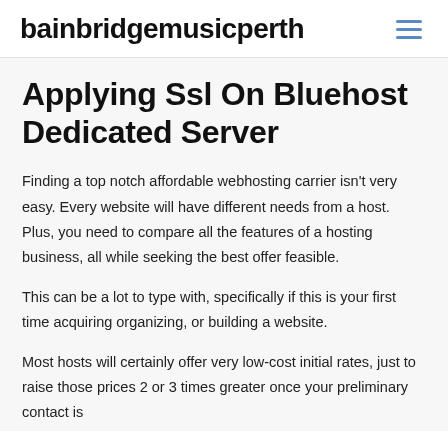bainbridgemusicperth
Applying Ssl On Bluehost Dedicated Server
Finding a top notch affordable webhosting carrier isn't very easy. Every website will have different needs from a host. Plus, you need to compare all the features of a hosting business, all while seeking the best offer feasible.
This can be a lot to type with, specifically if this is your first time acquiring organizing, or building a website.
Most hosts will certainly offer very low-cost initial rates, just to raise those prices 2 or 3 times greater once your preliminary contact is